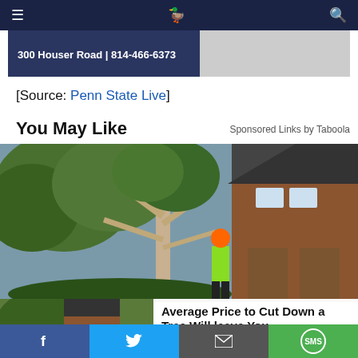Navigation bar with menu, logo, and search icons
[Figure (photo): Advertisement banner showing '300 Houser Road | 814-466-6373']
[Source: Penn State Live]
You May Like
Sponsored Links by Taboola
[Figure (photo): Photo of a worker in orange helmet and green high-vis jacket cutting down a large tree next to a brick house]
Average Price to Cut Down a Tree Will leave You Speechless (Search For…
Tree service - search ads | Sponsored
Social share bar: Facebook, Twitter, Email, SMS